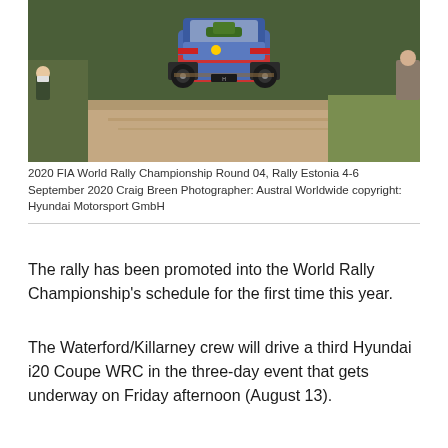[Figure (photo): Rally car (Hyundai i20 WRC) airborne on a gravel stage during 2020 FIA World Rally Championship Round 04, Rally Estonia. Two spectators visible in the background wearing masks.]
2020 FIA World Rally Championship Round 04, Rally Estonia 4-6 September 2020 Craig Breen Photographer: Austral Worldwide copyright: Hyundai Motorsport GmbH
The rally has been promoted into the World Rally Championship's schedule for the first time this year.
The Waterford/Killarney crew will drive a third Hyundai i20 Coupe WRC in the three-day event that gets underway on Friday afternoon (August 13).